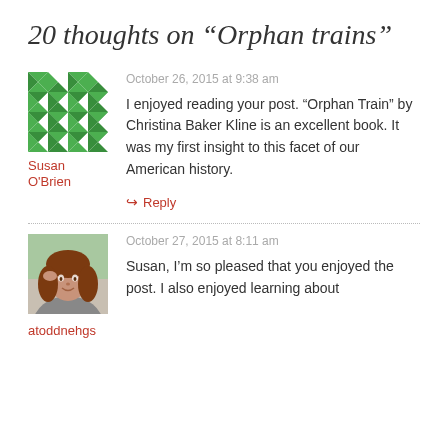20 thoughts on “Orphan trains”
October 26, 2015 at 9:38 am
I enjoyed reading your post. “Orphan Train” by Christina Baker Kline is an excellent book. It was my first insight to this facet of our American history.
Susan O’Brien
↪ Reply
October 27, 2015 at 8:11 am
Susan, I’m so pleased that you enjoyed the post. I also enjoyed learning about
atoddnehgs